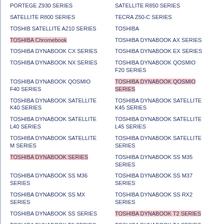PORTEGE Z930 SERIES
SATELLITE R850 SERIES
SATELLITE R800 SERIES
TECRA Z50-C SERIES
TOSHIB SATELLITE A210 SERIES
TOSHIBA
TOSHIBA Chromebook
TOSHIBA DYNABOOK AX SERIES
TOSHIBA DYNABOOK CX SERIES
TOSHIBA DYNABOOK EX SERIES
TOSHIBA DYNABOOK NX SERIES
TOSHIBA DYNABOOK QOSMIO F20 SERIES
TOSHIBA DYNABOOK QOSMIO F40 SERIES
TOSHIBA DYNABOOK QOSMIO SERIES
TOSHIBA DYNABOOK SATELLITE K40 SERIES
TOSHIBA DYNABOOK SATELLITE K45 SERIES
TOSHIBA DYNABOOK SATELLITE L40 SERIES
TOSHIBA DYNABOOK SATELLITE L45 SERIES
TOSHIBA DYNABOOK SATELLITE M SERIES
TOSHIBA DYNABOOK SATELLITE SERIES
TOSHIBA DYNABOOK SERIES
TOSHIBA DYNABOOK SS M35 SERIES
TOSHIBA DYNABOOK SS M36 SERIES
TOSHIBA DYNABOOK SS M37 SERIES
TOSHIBA DYNABOOK SS MX SERIES
TOSHIBA DYNABOOK SS RX2 SERIES
TOSHIBA DYNABOOK SS SERIES
TOSHIBA DYNABOOK T2 SERIES
TOSHIBA DYNABOOK T3 SERIES
TOSHIBA DYNABOOK T4 SERIES
TOSHIBA DYNABOOK T5 SERIES
TOSHIBA DYNABOOK T6 SERIES